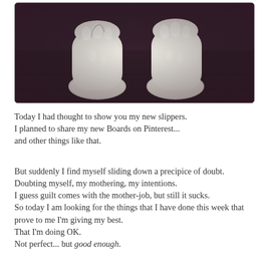[Figure (photo): Photo of two white fluffy/fuzzy slipper boots viewed from above, on a dark floor background. The photo has a slightly faded, vintage Instagram-style filter with a rounded rectangle border.]
Today I had thought to show you my new slippers.
I planned to share my new Boards on Pinterest...
and other things like that.
But suddenly I find myself sliding down a precipice of doubt.
Doubting myself, my mothering, my intentions.
I guess guilt comes with the mother-job, but still it sucks.
So today I am looking for the things that I have done this week that prove to me I'm giving my best.
That I'm doing OK.
Not perfect... but good enough.